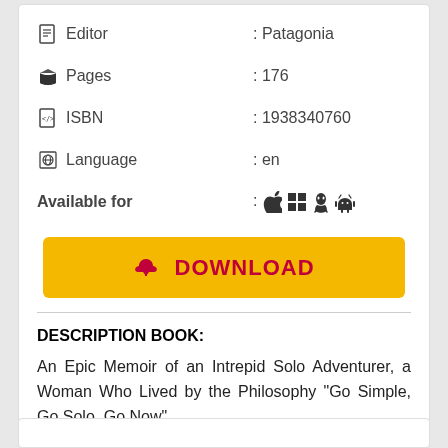Editor : Patagonia
Pages : 176
ISBN : 1938340760
Language : en
Available for : [Apple, Windows, Linux, Android icons]
[Figure (other): Download button with cloud/download icon, yellow background, red text reading DOWNLOAD]
DESCRIPTION BOOK:
An Epic Memoir of an Intrepid Solo Adventurer, a Woman Who Lived by the Philosophy "Go Simple, Go Solo, Go Now"